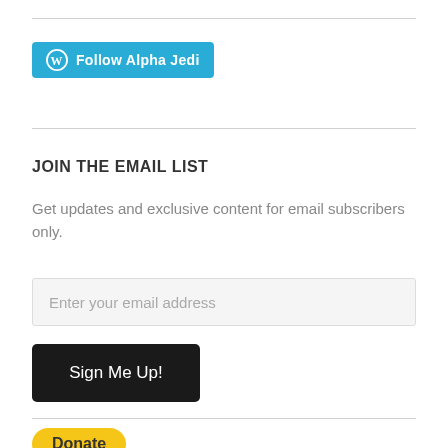[Figure (logo): WordPress-style Follow Alpha Jedi button with cyan background and W logo]
JOIN THE EMAIL LIST
Get updates and exclusive content for email subscribers only.
[Figure (other): Email input field with placeholder text 'Enter your email address']
[Figure (other): Black Sign Me Up! button]
[Figure (other): Yellow Donate button]